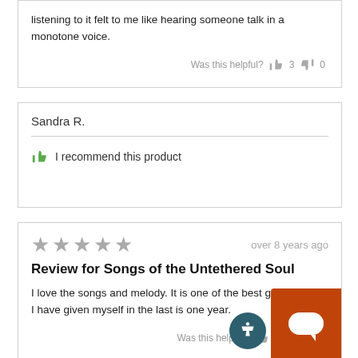listening to it felt to me like hearing someone talk in a monotone voice.
Was this helpful?  👍 3  👎 0
Sandra R.
I recommend this product
over 8 years ago
Review for Songs of the Untethered Soul
I love the songs and melody. It is one of the best gifts I have given myself in the last is one year.
Was this helpful?  0